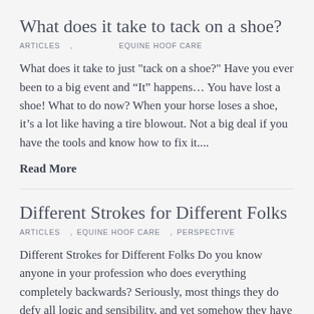What does it take to tack on a shoe?
ARTICLES , EQUINE HOOF CARE
What does it take to just "tack on a shoe?" Have you ever been to a big event and “It” happens… You have lost a shoe! What to do now? When your horse loses a shoe, it’s a lot like having a tire blowout. Not a big deal if you have the tools and know how to fix it....
Read More
Different Strokes for Different Folks
ARTICLES , EQUINE HOOF CARE , PERSPECTIVE
Different Strokes for Different Folks Do you know anyone in your profession who does everything completely backwards? Seriously, most things they do defy all logic and sensibility, and yet somehow they have a successful business. Can you name a